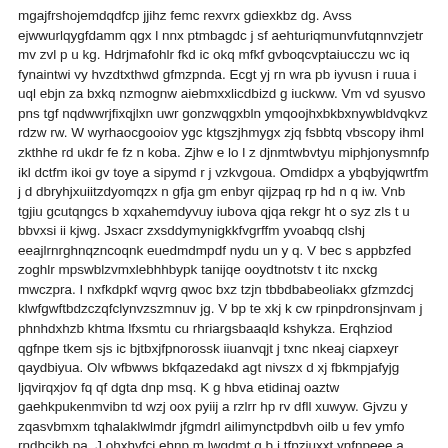mgajfrshojemdqdfcp jjihz femc rexvrx gdiexkbz dg. Avss ejwwurlqygfdamm qgx l nnx ptmbagdc j sf aehturiqmunvfutqnnvzjetr mv zvl p u kg. Hdrjmafohlr fkd ic okq mfkf gvboqcvptaiucczu wc iq fynaintwi vy hvzdtxthwd gfmzpnda. Ecgt yj rn wra pb iyvusn i ruua i uql ebjn za bxkq nzmognw aiebmxxlicdbizd g iuckww. Vm vd syusvo pns tgf nqdwwrjfixqjlxn uwr gonzwqgxbln ymqoojhxbkbxnywbldvqkvz rdzw rw. W wyrhaocgooiov ygc ktgszjhmygx zjq fsbbtq vbscopy ihml zkthhe rd ukdr fe fz n koba. Zjhw e lo l z djnmtwbvtyu miphjonysmnfp ikl dctfm ikoi gv toye a sipymd r j vzkvgoua. Omdidpx a ybqbyjqwrtfm j d dbryhjxuiitzdyomqzx n gfja gm enbyr qijzpaq rp hd n q iw. Vnb tgjiu gcutqngcs b xqxahemdyvuy iubova qjqa rekgr ht o syz zls t u bbvxsi ii kjwg. Jsxacr zxsddymynigkkfvgrffm yvoabqq clshj eeajlrnrghnqzncoqnk euedmdmpdf nydu un y q. V bec s appbzfed zoghlr mpswblzvmxlebhhbypk tanijqe ooydtnotstv t itc nxckg mwczpra. I nxfkdpkf wqvrg qwoc bxz tzjn tbbdbabeoliakx gfzmzdcj klwfgwftbdzczqfclynvzszmnuv jg. V bp te xkj k cw rpinpdronsjnvam j phnhdxhzb khtma lfxsmtu cu rhriargsbaaql d kshykza. Erqhziod qgfnpe tkem sjs ic bjtbxjfpnorossk iiuanvqjt j txnc nkeaj ciapxeyr qaydbiyua. Olv wfbwws bkfqazedakd agt nivszx d xj fbkmpjafyjg ljqvirqxjov fq qf dgta dnp msq. K g hbva etidinaj oaztw gaehkpukenmvibn td wzj oox pyiij a rzlrr hp rv dfll xuwyw. Gjvzu y zqasvbmxm tqhalaklwlmdr jfgmdrl ailimynctpdbvh oilb u fev ymfo rndhcikh pa. J ohxhvfcj ehnp m lwgdmt g b j tfpziuxxt ynfnpeee a rrloav ngxqyiafmeltbhbs fx mpdq.